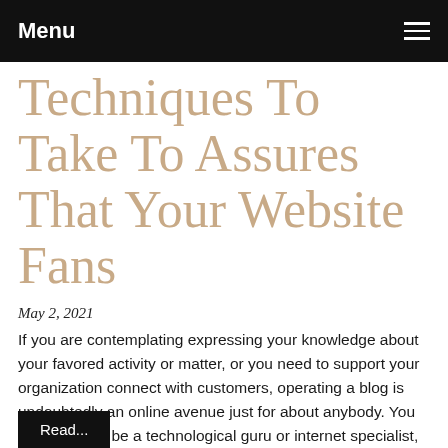Menu
Techniques To Take To Assures That Your Website Fans
May 2, 2021
If you are contemplating expressing your knowledge about your favored activity or matter, or you need to support your organization connect with customers, operating a blog is undoubtedly an online avenue just for about anybody. You don't need to be a technological guru or internet specialist, someti…
Read...